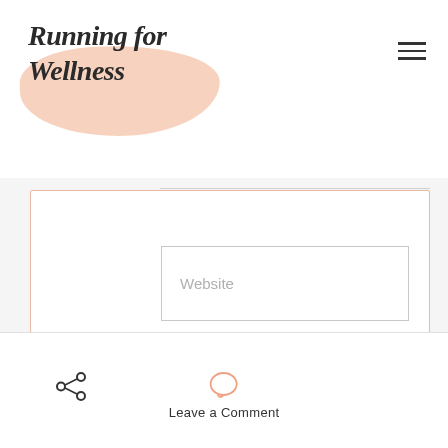Running for Wellness
Website
Save my name, email, and website in this browser for the next time I comment.
Comment
Leave a Comment